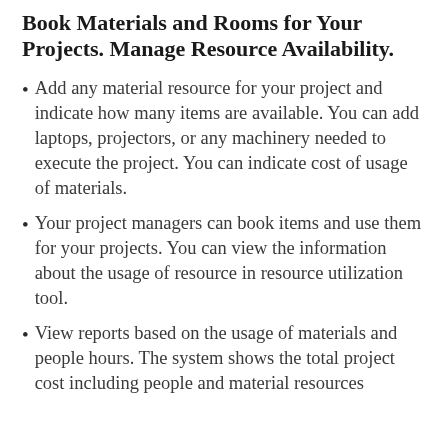Book Materials and Rooms for Your Projects. Manage Resource Availability.
Add any material resource for your project and indicate how many items are available. You can add laptops, projectors, or any machinery needed to execute the project. You can indicate cost of usage of materials.
Your project managers can book items and use them for your projects. You can view the information about the usage of resource in resource utilization tool.
View reports based on the usage of materials and people hours. The system shows the total project cost including people and material resources